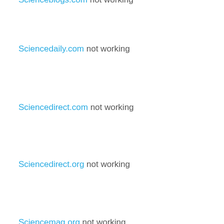Scienceblogs.com not working
Sciencedaily.com not working
Sciencedirect.com not working
Sciencedirect.org not working
Sciencemag.org not working
Sciencenews.org not working
Scienceresearchpaper.xsl.pt not working
Scienstechnologies.com not working
Scientificamerican.com not working
Scientist.com not working